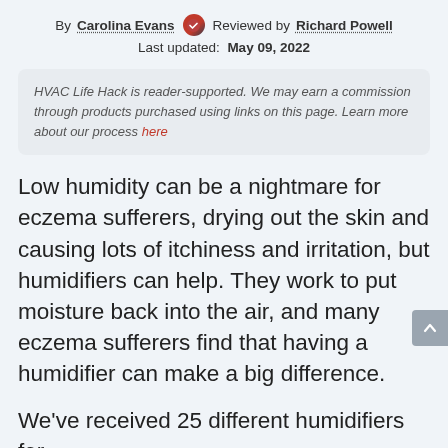By Carolina Evans [badge] Reviewed by Richard Powell
Last updated: May 09, 2022
HVAC Life Hack is reader-supported. We may earn a commission through products purchased using links on this page. Learn more about our process here
Low humidity can be a nightmare for eczema sufferers, drying out the skin and causing lots of itchiness and irritation, but humidifiers can help. They work to put moisture back into the air, and many eczema sufferers find that having a humidifier can make a big difference.
We've received 25 different humidifiers for